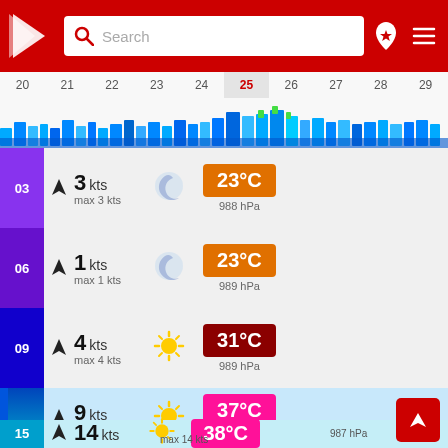[Figure (screenshot): Mobile weather app screenshot showing header with search bar, date selector strip, wave chart, and weather rows for times 03, 06, 09, 12, 15 showing wind speed, weather icon, temperature and pressure]
Search
20 21 22 23 24 25 26 27 28 29
03  3 kts  max 3 kts  23°C  988 hPa
06  1 kts  max 1 kts  23°C  989 hPa
09  4 kts  max 4 kts  31°C  989 hPa
12  9 kts  max 9 kts  37°C  988 hPa
15  14 kts  max 14 kts  38°C  987 hPa